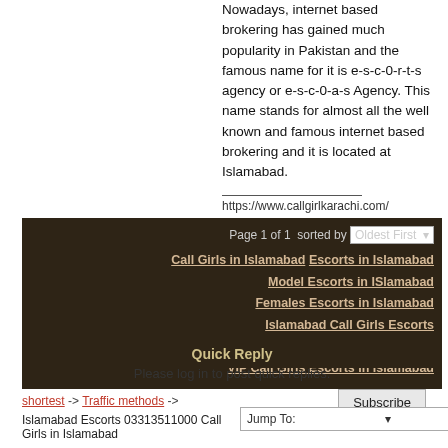Nowadays, internet based brokering has gained much popularity in Pakistan and the famous name for it is e-s-c-0-r-t-s agency or e-s-c-0-a-s Agency. This name stands for almost all the well known and famous internet based brokering and it is located at Islamabad.
https://www.callgirlkarachi.com/
Page 1 of 1  sorted by  Oldest First
Call Girls in Islamabad  Escorts in Islamabad
Model Escorts in ISlamabad
Females Escorts in Islamabad
Islamabad Call Girls Escorts
VIP Call Girls in Islamabad
VIP Call Girls Escorts in Islamabad
Quick Reply
Please log in to post quick replies.
shortest -> Traffic methods ->
Islamabad Escorts 03313511000 Call Girls in Islamabad
Jump To: